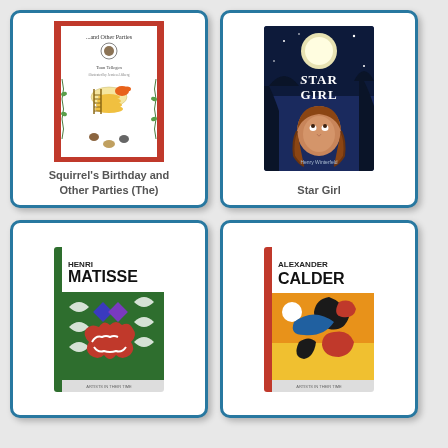[Figure (illustration): Book cover: Squirrel's Birthday and Other Parties (The) - white cover with red border, illustrated with animals and a cake]
Squirrel's Birthday and Other Parties (The)
[Figure (illustration): Book cover: Star Girl - dark blue cover with a girl looking up at a moon and the title Star Girl]
Star Girl
[Figure (illustration): Book cover: Henri Matisse - green cover with Matisse artwork showing colorful shapes and the artist's name]
[Figure (illustration): Book cover: Alexander Calder - orange cover with Calder artwork showing abstract shapes and the artist's name]